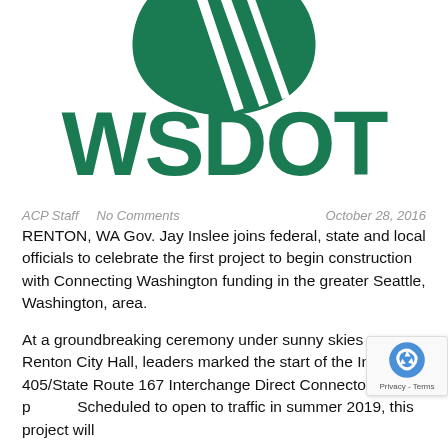[Figure (logo): WSDOT (Washington State Department of Transportation) logo — green leaf/shield shape above large green 'WSDOT' wordmark]
ACP Staff   No Comments   October 28, 2016
RENTON, WA Gov. Jay Inslee joins federal, state and local officials to celebrate the first project to begin construction with Connecting Washington funding in the greater Seattle, Washington, area.
At a groundbreaking ceremony under sunny skies near Renton City Hall, leaders marked the start of the Interstate 405/State Route 167 Interchange Direct Connector project. Scheduled to open to traffic in summer 2019, this project will